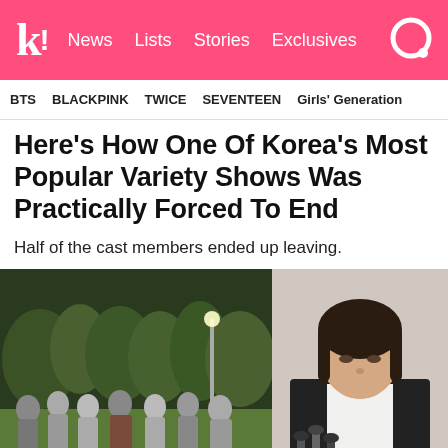k! News Lists Stories Exclusives
BTS   BLACKPINK   TWICE   SEVENTEEN   Girls' Generation
Here's How One Of Korea's Most Popular Variety Shows Was Practically Forced To End
Half of the cast members ended up leaving.
[Figure (photo): Group of people standing on a lawn at night with lights in background]
[Figure (photo): Man in black suit with head bowed in front of microphones]